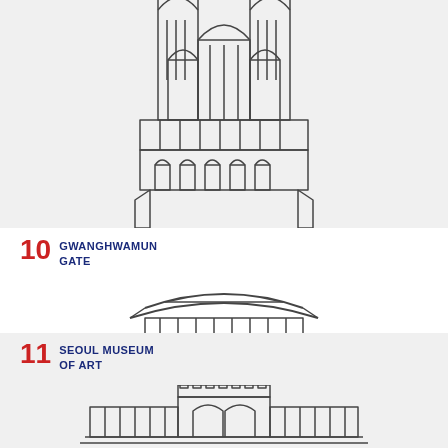[Figure (illustration): Top portion of a Korean gothic-style building illustration (cathedral/church) in line-art style, partially cropped at top]
10 GWANGHWAMUN GATE
[Figure (illustration): Line-art illustration of Gwanghwamun Gate, a traditional Korean palace gate with sweeping curved roof, two-tiered structure, stone base with three arched openings]
11 SEOUL MUSEUM OF ART
[Figure (illustration): Partial line-art illustration of Seoul Museum of Art building with neoclassical facade, partially cropped at bottom]